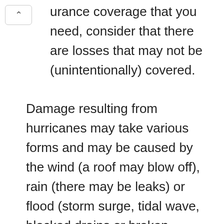urance coverage that you need, consider that there are losses that may not be (unintentionally) covered.
Damage resulting from hurricanes may take various forms and may be caused by the wind (a roof may blow off), rain (there may be leaks) or flood (storm surge, tidal wave, blocked drains or broken embankments).  Typically, it is flood damage that may cause the biggest problem; but because many insurance policies that cover specified events may